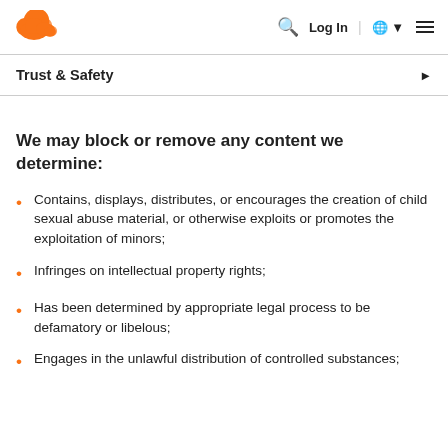Cloudflare | Log In | Globe | Menu
Trust & Safety
We may block or remove any content we determine:
Contains, displays, distributes, or encourages the creation of child sexual abuse material, or otherwise exploits or promotes the exploitation of minors;
Infringes on intellectual property rights;
Has been determined by appropriate legal process to be defamatory or libelous;
Engages in the unlawful distribution of controlled substances;